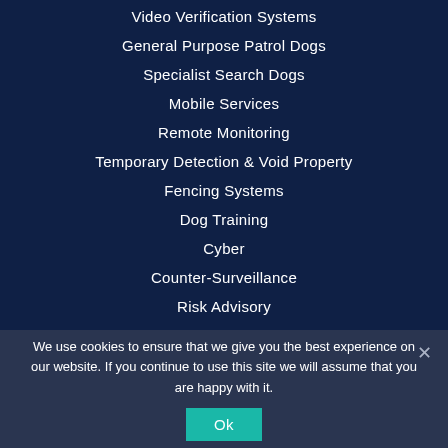Video Verification Systems
General Purpose Patrol Dogs
Specialist Search Dogs
Mobile Services
Remote Monitoring
Temporary Detection & Void Property
Fencing Systems
Dog Training
Cyber
Counter-Surveillance
Risk Advisory
We use cookies to ensure that we give you the best experience on our website. If you continue to use this site we will assume that you are happy with it.
Ok